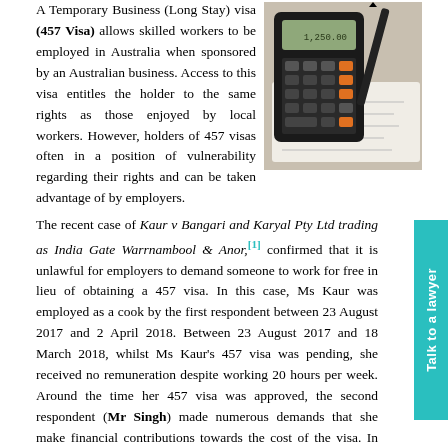A Temporary Business (Long Stay) visa (457 Visa) allows skilled workers to be employed in Australia when sponsored by an Australian business. Access to this visa entitles the holder to the same rights as those enjoyed by local workers. However, holders of 457 visas often in a position of vulnerability regarding their rights and can be taken advantage of by employers.
[Figure (photo): Photo of a calculator with a pen and papers/documents in the background]
The recent case of Kaur v Bangari and Karyal Pty Ltd trading as India Gate Warrnambool & Anor,[1] confirmed that it is unlawful for employers to demand someone to work for free in lieu of obtaining a 457 visa. In this case, Ms Kaur was employed as a cook by the first respondent between 23 August 2017 and 2 April 2018. Between 23 August 2017 and 18 March 2018, whilst Ms Kaur's 457 visa was pending, she received no remuneration despite working 20 hours per week. Around the time her 457 visa was approved, the second respondent (Mr Singh) made numerous demands that she make financial contributions towards the cost of the visa. In March 2018, Ms Kaur's 457 visa was approved and the first respondent commenced paying her a wage. On 2 April 2018, Ms Kaur was terminated by Mr Singh